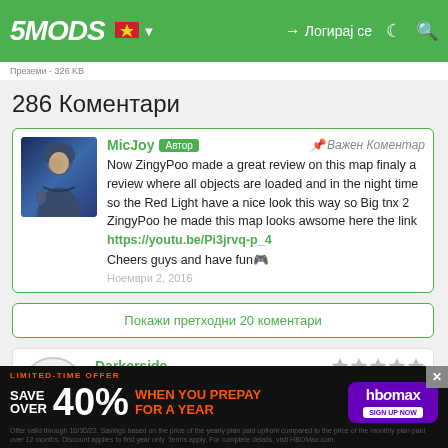[Figure (screenshot): 5MODS website navigation bar with green background, logo, flag icons, login button in Macedonian (Логирај се), dark mode and search icons]
286 Коментари
MicJoy Автор — Важен Коментар
Now ZingyPoo made a great review on this map finaly a review where all objects are loaded and in the night time so the Red Light have a nice look this way so Big tnx 2 ZingyPoo he made this map looks awsome here the link https://youtu.be/Pi3jrvq-p_4
Cheers guys and have fun🎮
Ноември 2, 2016
Покажи претходни 20 коментари
Darkerside ★★★★★
Loved it, problem is, now i want to just chill ou...
[Figure (screenshot): HBO Max advertisement banner: Save over 40% when you prepay for a year. Limited-time offer. Close button visible.]